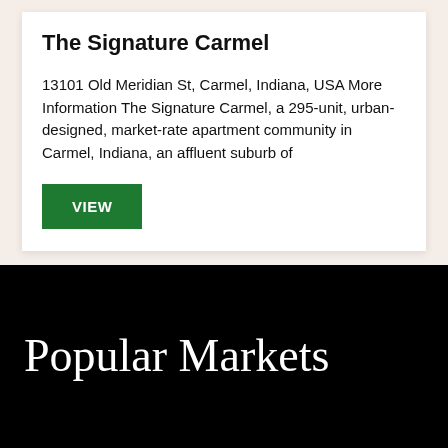The Signature Carmel
13101 Old Meridian St, Carmel, Indiana, USA More Information The Signature Carmel, a 295-unit, urban-designed, market-rate apartment community in Carmel, Indiana, an affluent suburb of
VIEW
Popular Markets